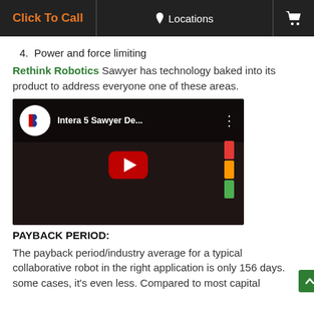Click To Call | Locations | [cart]
4.  Power and force limiting
Rethink Robotics Sawyer has technology baked into its product to address everyone one of these areas.
[Figure (screenshot): YouTube video thumbnail showing 'Intera 5 Sawyer De...' with Rethink Robotics logo and play button]
PAYBACK PERIOD:
The payback period/industry average for a typical collaborative robot in the right application is only 156 days. some cases, it's even less. Compared to most capital